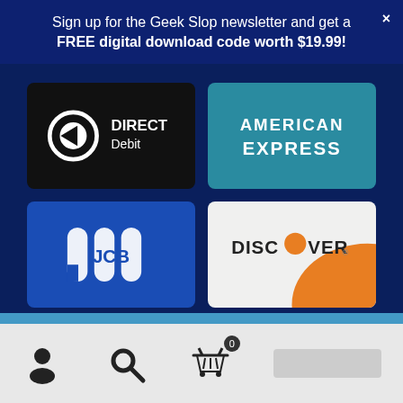Sign up for the Geek Slop newsletter and get a FREE digital download code worth $19.99!
[Figure (logo): Direct Debit logo on black background]
[Figure (logo): American Express logo on teal background]
[Figure (logo): JCB logo on blue background]
[Figure (logo): Discover logo on white/orange background]
Geeks gotta be in the know. Sign up for the Geek Slop newsletter and get a FREE digital download code worth $19.99!
Dismiss